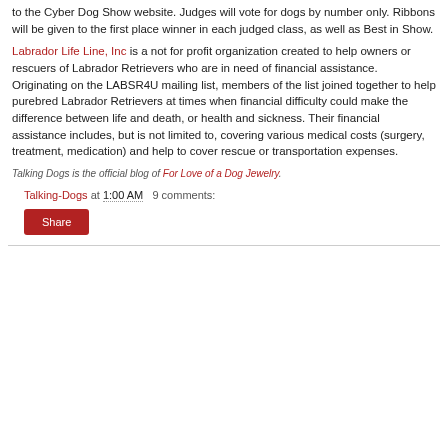to the Cyber Dog Show website. Judges will vote for dogs by number only. Ribbons will be given to the first place winner in each judged class, as well as Best in Show.
Labrador Life Line, Inc is a not for profit organization created to help owners or rescuers of Labrador Retrievers who are in need of financial assistance. Originating on the LABSR4U mailing list, members of the list joined together to help purebred Labrador Retrievers at times when financial difficulty could make the difference between life and death, or health and sickness. Their financial assistance includes, but is not limited to, covering various medical costs (surgery, treatment, medication) and help to cover rescue or transportation expenses.
Talking Dogs is the official blog of For Love of a Dog Jewelry.
Talking-Dogs at 1:00 AM   9 comments:
Share